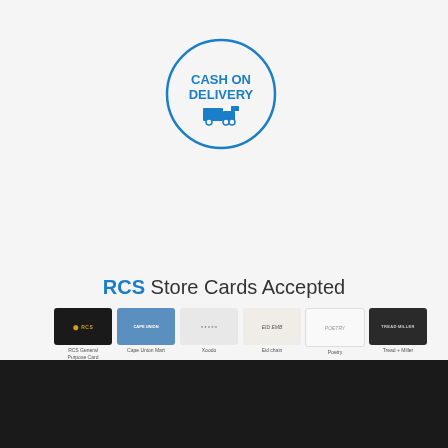[Figure (illustration): Cash on Delivery icon: circle with text CASH ON DELIVERY and a delivery truck icon in blue]
RCS Store Cards Accepted
[Figure (illustration): Grid of RCS store card images: RCS General Purpose Card, Cape Union Mart, Xoodo, Eid chain, Poetry, Tread + Miller, VIP Luxury Group, Coricraft, NWJ, CTU, Contempo, Supa Quilts, Game, Makro, Builders]
RCS General Purpose Card
Cape Union Mart
Xoodo
Eid chain
Poetry
Tread + Miller
VIP Luxury Group
Coricraft
NWJ
CTU
Contempo
Supa Quilts
Game
Makro
Builders